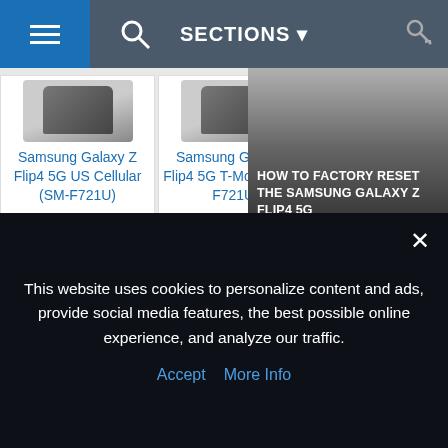[Figure (screenshot): Website navigation bar with hamburger menu, search icon, SECTIONS dropdown, and key icon]
[Figure (screenshot): Product card: Samsung Galaxy Z Flip4 5G US Cellular (SM-F721U)]
[Figure (screenshot): Product card: Samsung Galaxy Z Flip4 5G T-Mobile (SM-F721U)]
[Figure (screenshot): Product card: Samsung Galaxy Z Flip4 5G Verizon (SM-F721U)]
[Figure (screenshot): Article image with text: HOW TO FACTORY RESET THE SAMSUNG GALAXY Z FLIP4 5G]
[Figure (screenshot): Article image with text: HOW TO UPDATE THE SAMSUNG GALAXY Z FOLD4 5G (3 METHODS)]
This website uses cookies to personalize content and ads, provide social media features, the best possible online experience, and analyze our traffic.
Accept  More Info